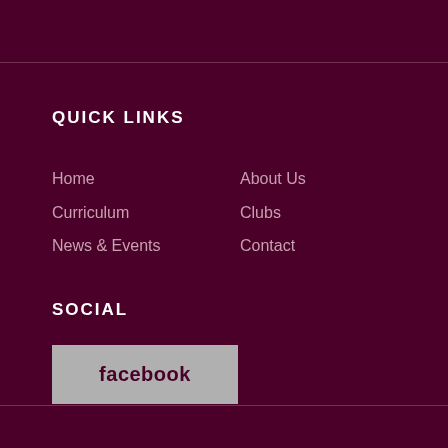QUICK LINKS
Home
Curriculum
News & Events
About Us
Clubs
Contact
SOCIAL
[Figure (logo): Facebook logo button — grey rectangle with 'facebook' text in dark maroon/wine color]